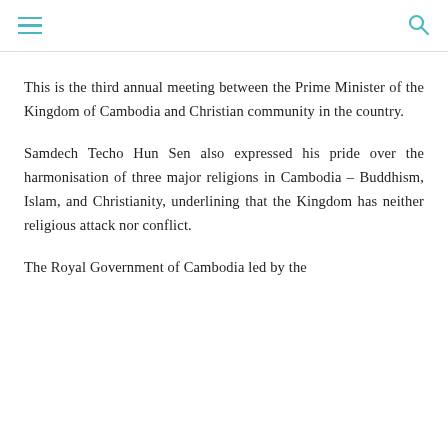[hamburger menu icon] [search icon]
This is the third annual meeting between the Prime Minister of the Kingdom of Cambodia and Christian community in the country.
Samdech Techo Hun Sen also expressed his pride over the harmonisation of three major religions in Cambodia – Buddhism, Islam, and Christianity, underlining that the Kingdom has neither religious attack nor conflict.
The Royal Government of Cambodia led by the